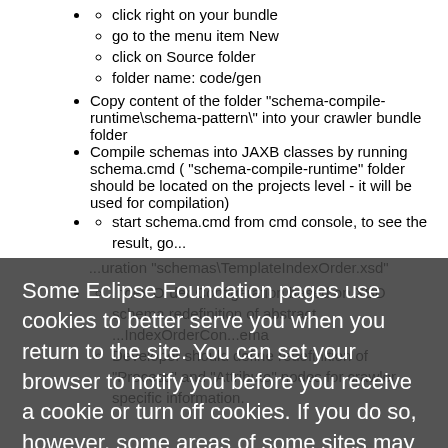click right on your bundle
go to the menu item New
click on Source folder
folder name: code/gen
Copy content of the folder "schema-compile-runtime\schema-pattern\" into your crawler bundle folder
Compile schemas into JAXB classes by running schema.cmd ( "schema-compile-runtime" folder should be located on the projects level - it will be used for compilation)
start schema.cmd from cmd console, to see the result, go...
...uration "schemas\TemplateIndexOrder.xsd"
Index Order Configaration based on XSD schema redefinition of abstract ...IndexOrderCon...ema
Developer should define redefinition of "Process" and "Attribute" nodes for crawler specific information.
Some Eclipse Foundation pages use cookies to better serve you when you return to the site. You can set your browser to notify you before you receive a cookie or turn off cookies. If you do so, however, some areas of some sites may not function properly. To read Eclipse Foundation Privacy Policy click here.